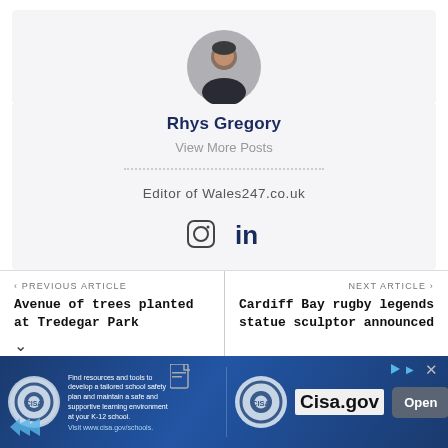[Figure (photo): Circular avatar photo of Rhys Gregory, a man in a dark jacket]
Rhys Gregory
View More Posts
Editor of Wales247.co.uk
[Figure (illustration): Instagram and LinkedIn social media icons]
< PREVIOUS ARTICLE
Avenue of trees planted at Tredegar Park
NEXT ARTICLE >
Cardiff Bay rugby legends statue sculptor announced
[Figure (infographic): CISA advertisement banner: Find resources and tools to develop a tailored school safety plan and maintain a safe and supportive learning environment at your K-12 school. Visit www.cisa.gov/schools. Cisa.gov Open button.]